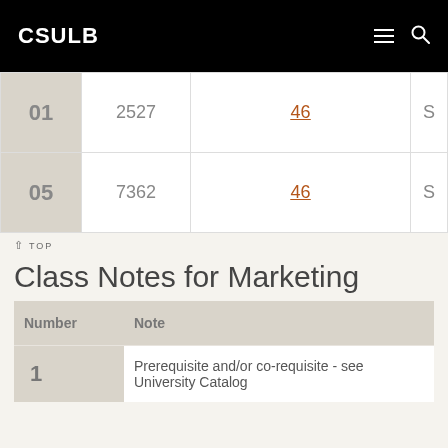CSULB
| Section | Number | Units | Type |
| --- | --- | --- | --- |
| 01 | 2527 | 46 | S |
| 05 | 7362 | 46 | S |
TOP
Class Notes for Marketing
| Number | Note |
| --- | --- |
| 1 | Prerequisite and/or co-requisite - see University Catalog |